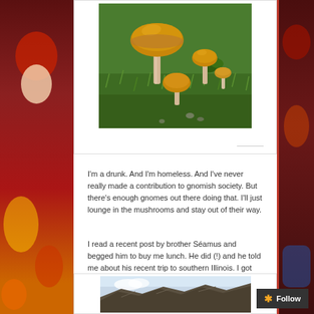[Figure (photo): Mushrooms growing in grass — several yellow/orange mushrooms of varying sizes on a green lawn]
I'm a drunk. And I'm homeless. And I've never really made a contribution to gnomish society. But there's enough gnomes out there doing that. I'll just lounge in the mushrooms and stay out of their way.
I read a recent post by brother Séamus and begged him to buy me lunch. He did (!) and he told me about his recent trip to southern Illinois. I got jealous. I know I'm the deadbeat of the family, but it doesn't seem right that I'm the only Rumplesphincter brother who has never left the outer parameter of The Gnome Abode.
[Figure (photo): Landscape photo — rocky or mountainous terrain with sky, partial view at bottom of page]